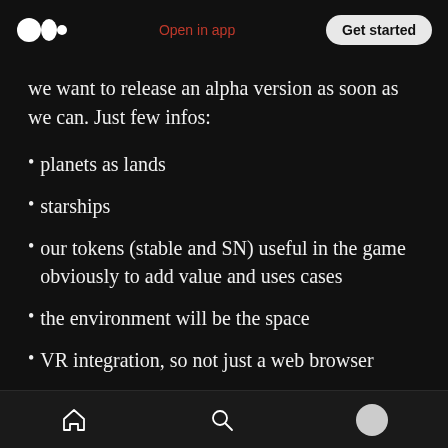Medium logo | Open in app | Get started
we want to release an alpha version as soon as we can. Just few infos:
planets as lands
starships
our tokens (stable and SN) useful in the game obviously to add value and uses cases
the environment will be the space
VR integration, so not just a web browser game
Home | Search | Profile